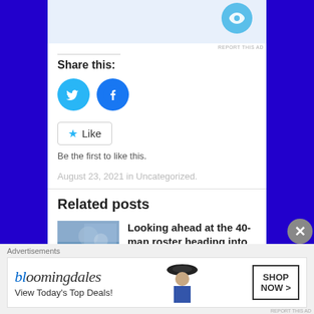[Figure (screenshot): Top portion of ad banner with blue circular icon visible]
REPORT THIS AD
Share this:
[Figure (illustration): Twitter bird icon in blue circle]
[Figure (illustration): Facebook f icon in blue circle]
[Figure (illustration): Like button with star icon]
Be the first to like this.
August 23, 2021 in Uncategorized.
Related posts
[Figure (photo): Thumbnail image for related post about 40-man roster]
Looking ahead at the 40-man roster heading into 2023
Advertisements
[Figure (screenshot): Bloomingdales advertisement banner: View Today's Top Deals! SHOP NOW >]